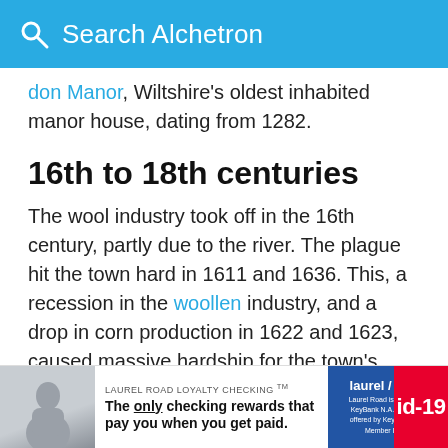Search Alchetron
don Manor, Wiltshire's oldest inhabited manor house, dating from 1282.
16th to 18th centuries
The wool industry took off in the 16th century, partly due to the river. The plague hit the town hard in 1611 and 1636. This, a recession in the woollen industry, and a drop in corn production in 1622 and 1623, caused massive hardship for the town's population. The trade in cloth faced further problems during the English Civil War due to a Royalist proclamation that prohibited the sale of cloth t...
[Figure (other): Advertisement banner for Laurel Road Loyalty Checking with text 'The only checking rewards that pay you when you get paid.' and a red id-19 badge.]